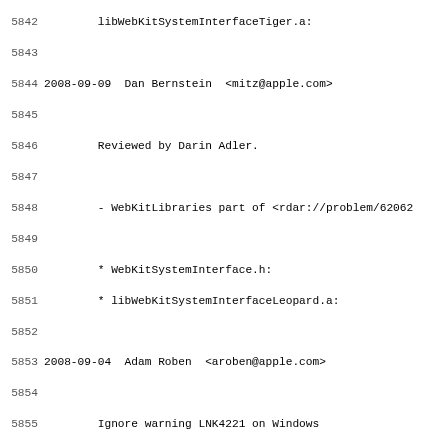Source code changelog/log file excerpt showing lines 5842-5874 with commit entries for WebKit project
5842 libWebKitSystemInterfaceTiger.a:
5843
5844 2008-09-09  Dan Bernstein  <mitz@apple.com>
5845
5846         Reviewed by Darin Adler.
5847
5848         - WebKitLibraries part of <rdar://problem/62062
5849
5850         * WebKitSystemInterface.h:
5851         * libWebKitSystemInterfaceLeopard.a:
5852
5853 2008-09-04  Adam Roben  <aroben@apple.com>
5854
5855         Ignore warning LNK4221 on Windows
5856
5857         This warning is emitted when an object file wit
5858         passed to the linker/librarian. This often occu
5859         that have been disabled via ENABLE()/USE() macr
5860
5861         Rubberstamped by Anders Carlsson.
5862
5863         * win/tools/vsprops/common.vsprops: Ignore warr
5864
5865 2008-08-27  Timothy Hatcher  <timothy@apple.com>
5866
5867         Adds the WKAdvanceDefaultButtonPulseAnimation f
5868
5869         <rdar://problem/6173530> Add Mac support for -w
5870
5871         Reviewed by Adele Peterson.
5872
5873         * WebKitSystemInterface.h: Added WKAdvanceDefa
5874         * libWebKitSystemInterfaceLeopard.a: Updated